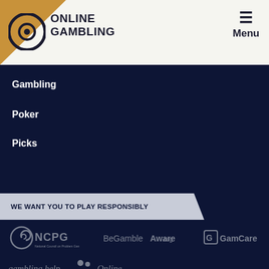[Figure (logo): Online Gambling logo with circular G icon]
Menu
Gambling
Poker
Picks
WE WANT YOU TO PLAY RESPONSIBLY
[Figure (logo): NCPG National Council on Problem Gambling logo]
[Figure (logo): BeGambleAware.org logo]
[Figure (logo): GamCare logo]
[Figure (logo): gambling help Online logo]
NEVER MISS A MOMENT